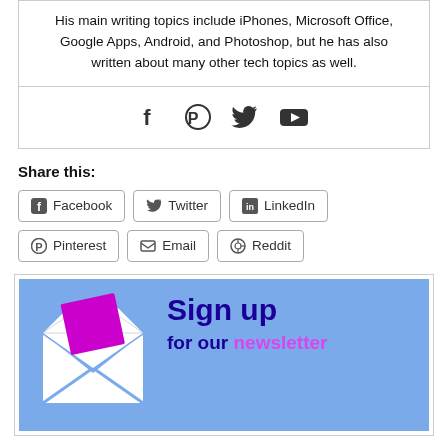His main writing topics include iPhones, Microsoft Office, Google Apps, Android, and Photoshop, but he has also written about many other tech topics as well.
[Figure (illustration): Social media icons: Facebook (f), Pinterest, Twitter bird, YouTube play button]
Share this:
Facebook
Twitter
LinkedIn
Pinterest
Email
Reddit
[Figure (illustration): Newsletter sign-up banner with envelope icon, 'Sign up for our newsletter' text on blue background]